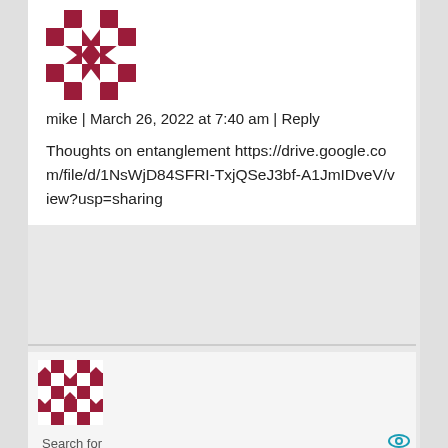[Figure (illustration): Decorative avatar/gravatar with red and white geometric pattern]
mike | March 26, 2022 at 7:40 am | Reply
Thoughts on entanglement https://drive.google.com/file/d/1NsWjD84SFRI-TxjQSeJ3bf-A1JmIDveV/view?usp=sharing
[Figure (illustration): Smaller decorative avatar/gravatar with red and white geometric pattern]
Search for
1. BUILD A QUANTUM COMPUTER →
2. FREE QUANTUM PHYSICS BOOKS →
Ad | Cellphone Guru